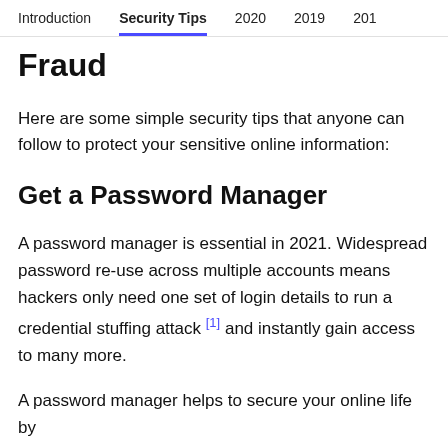Introduction  Security Tips  2020  2019  2018
Fraud
Here are some simple security tips that anyone can follow to protect your sensitive online information:
Get a Password Manager
A password manager is essential in 2021. Widespread password re-use across multiple accounts means hackers only need one set of login details to run a credential stuffing attack [1] and instantly gain access to many more.
A password manager helps to secure your online life by